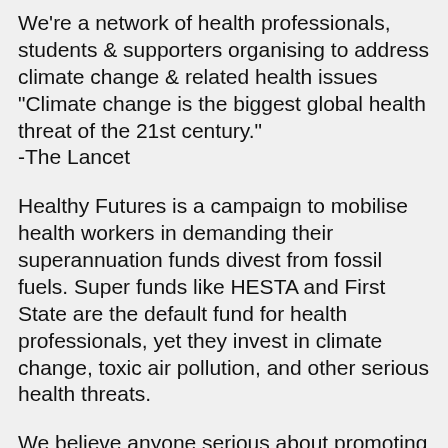We're a network of health professionals, students & supporters organising to address climate change & related health issues "Climate change is the biggest global health threat of the 21st century." -The Lancet
Healthy Futures is a campaign to mobilise health workers in demanding their superannuation funds divest from fossil fuels. Super funds like HESTA and First State are the default fund for health professionals, yet they invest in climate change, toxic air pollution, and other serious health threats.
We believe anyone serious about promoting